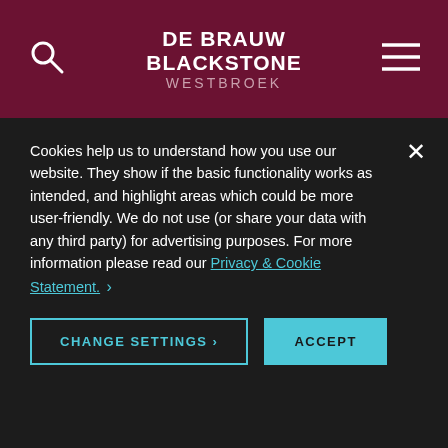DE BRAUW BLACKSTONE WESTBROEK
that the claim has been assigned by a bank, which has certain special duties of care towards its debtors. This
Cookies help us to understand how you use our website. They show if the basic functionality works as intended, and highlight areas which could be more user-friendly. We do not use (or share your data with any third party) for advertising purposes. For more information please read our Privacy & Cookie Statement.
CHANGE SETTINGS >    ACCEPT
whether the bank's client has fully performed its